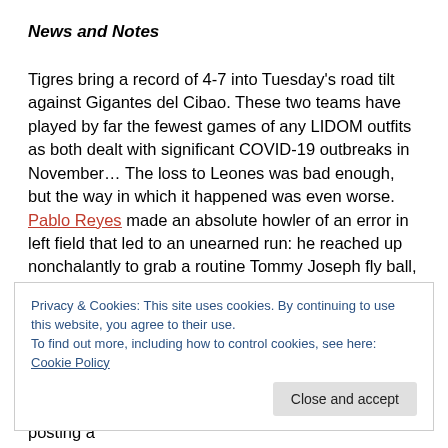News and Notes
Tigres bring a record of 4-7 into Tuesday's road tilt against Gigantes del Cibao. These two teams have played by far the fewest games of any LIDOM outfits as both dealt with significant COVID-19 outbreaks in November… The loss to Leones was bad enough, but the way in which it happened was even worse. Pablo Reyes made an absolute howler of an error in left field that led to an unearned run: he reached up nonchalantly to grab a routine Tommy Joseph fly ball, which glanced off the top of his glove and rolled to the wall. After the game,
Privacy & Cookies: This site uses cookies. By continuing to use this website, you agree to their use.
To find out more, including how to control cookies, see here: Cookie Policy
appeared in seven different seasons for Leones, posting a